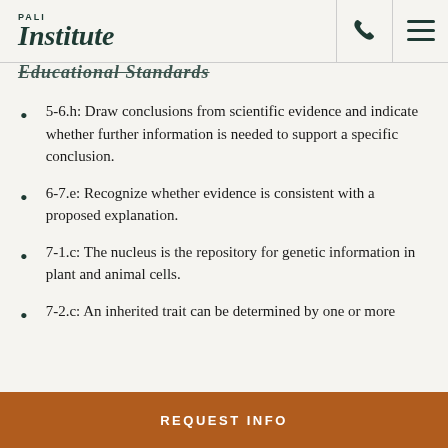PALI Institute
Educational Standards
5-6.h: Draw conclusions from scientific evidence and indicate whether further information is needed to support a specific conclusion.
6-7.e: Recognize whether evidence is consistent with a proposed explanation.
7-1.c: The nucleus is the repository for genetic information in plant and animal cells.
7-2.c: An inherited trait can be determined by one or more
REQUEST INFO